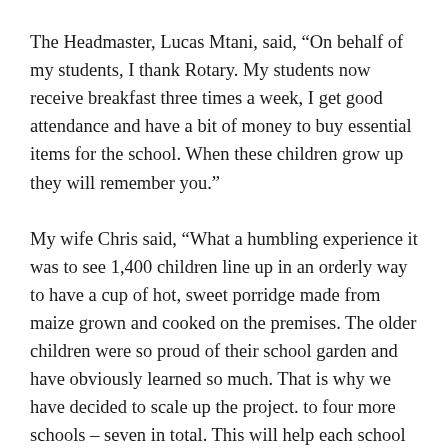The Headmaster, Lucas Mtani, said, “On behalf of my students, I thank Rotary. My students now receive breakfast three times a week, I get good attendance and have a bit of money to buy essential items for the school. When these children grow up they will remember you.”
My wife Chris said, “What a humbling experience it was to see 1,400 children line up in an orderly way to have a cup of hot, sweet porridge made from maize grown and cooked on the premises. The older children were so proud of their school garden and have obviously learned so much. That is why we have decided to scale up the project. to four more schools – seven in total. This will help each school feed its students three times a week during the school year –